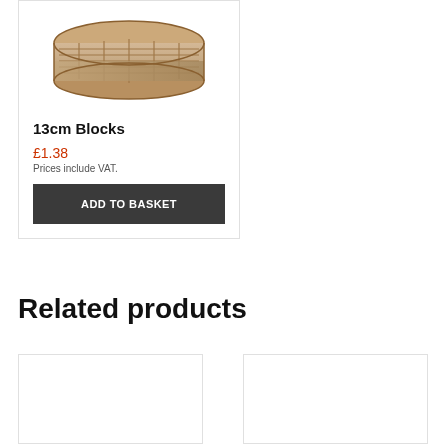[Figure (photo): Product photo of 13cm wooden blocks arranged in a rectangular grid pattern, tan/beige color, viewed from above at slight angle]
13cm Blocks
£1.38
Prices include VAT.
ADD TO BASKET
Related products
[Figure (photo): Related product card image area (empty/white)]
[Figure (photo): Related product card image area (empty/white)]